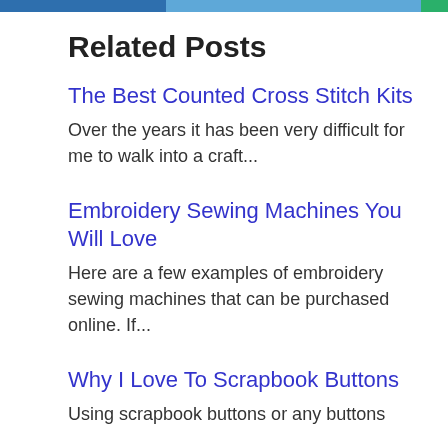[Figure (infographic): Horizontal progress/segmented bar at top of page with three colored segments: dark blue (left, ~37%), light blue (middle, ~57%), green (right, ~6%)]
Related Posts
The Best Counted Cross Stitch Kits
Over the years it has been very difficult for me to walk into a craft...
Embroidery Sewing Machines You Will Love
Here are a few examples of embroidery sewing machines that can be purchased online. If...
Why I Love To Scrapbook Buttons
Using scrapbook buttons or any buttons